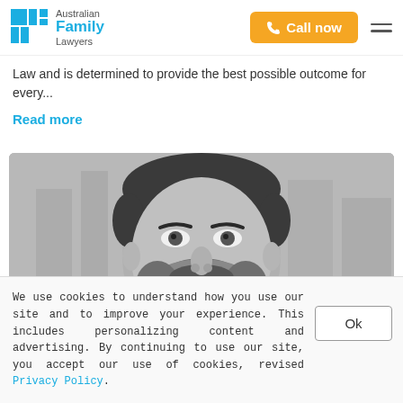Australian Family Lawyers — Call now
Law and is determined to provide the best possible outcome for every...
Read more
[Figure (photo): Black and white professional headshot of a man with a beard, looking forward, wearing a suit, blurred office background]
We use cookies to understand how you use our site and to improve your experience. This includes personalizing content and advertising. By continuing to use our site, you accept our use of cookies, revised Privacy Policy.